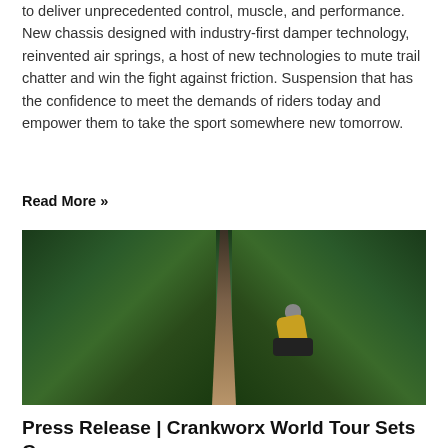to deliver unprecedented control, muscle, and performance. New chassis designed with industry-first damper technology, reinvented air springs, a host of new technologies to mute trail chatter and win the fight against friction. Suspension that has the confidence to meet the demands of riders today and empower them to take the sport somewhere new tomorrow.
Read More »
[Figure (photo): Mountain biker riding on a narrow forest trail through dense green foliage, wearing a yellow jersey and helmet, photographed from behind at an angle.]
Press Release | Crankworx World Tour Sets Course